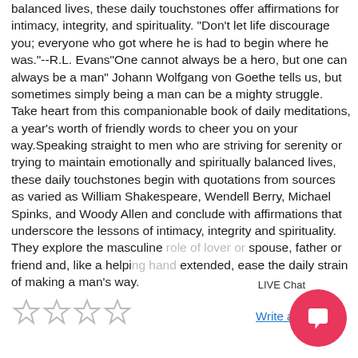balanced lives, these daily touchstones offer affirmations for intimacy, integrity, and spirituality. "Don't let life discourage you; everyone who got where he is had to begin where he was."--R.L. Evans"One cannot always be a hero, but one can always be a man" Johann Wolfgang von Goethe tells us, but sometimes simply being a man can be a mighty struggle. Take heart from this companionable book of daily meditations, a year's worth of friendly words to cheer you on your way.Speaking straight to men who are striving for serenity or trying to maintain emotionally and spiritually balanced lives, these daily touchstones begin with quotations from sources as varied as William Shakespeare, Wendell Berry, Michael Spinks, and Woody Allen and conclude with affirmations that underscore the lessons of intimacy, integrity and spirituality. They explore the masculine role of lover or spouse, father or friend and, like a helping hand extended, ease the daily strain of making a man's way.
LIVE Chat
Write a review